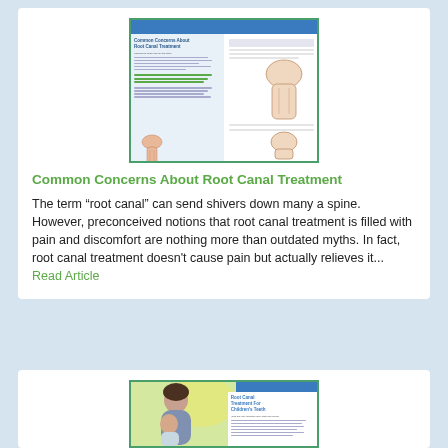[Figure (screenshot): Thumbnail image of a dental article titled 'Common Concerns About Root Canal Treatment' showing tooth diagrams]
Common Concerns About Root Canal Treatment
The term “root canal” can send shivers down many a spine. However, preconceived notions that root canal treatment is filled with pain and discomfort are nothing more than outdated myths. In fact, root canal treatment doesn't cause pain but actually relieves it... Read Article
[Figure (screenshot): Thumbnail image of a dental article titled 'Root Canal Treatment For Children’s Teeth' showing a mother and child smiling]